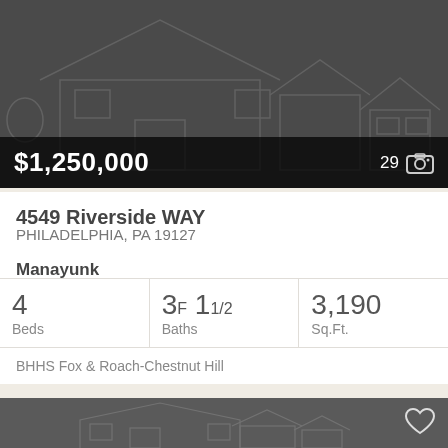[Figure (photo): Dark gray house outline illustration on dark background with price overlay showing $1,250,000 and photo count 29]
4549 Riverside WAY
PHILADELPHIA, PA 19127
Manayunk
4 Beds  3F 11/2 Baths  3,190 Sq.Ft.
BHHS Fox & Roach-Chestnut Hill
[Figure (photo): Second listing card: dark gray house outline illustration on gray background with heart icon]